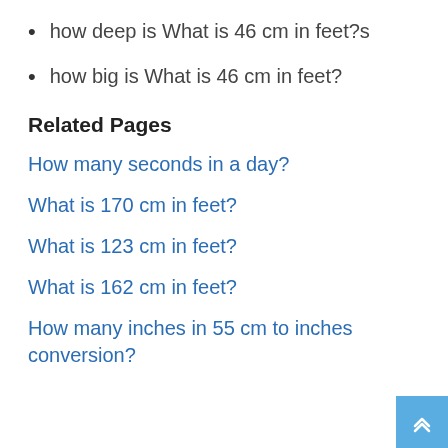how deep is What is 46 cm in feet?s
how big is What is 46 cm in feet?
Related Pages
How many seconds in a day?
What is 170 cm in feet?
What is 123 cm in feet?
What is 162 cm in feet?
How many inches in 55 cm to inches conversion?